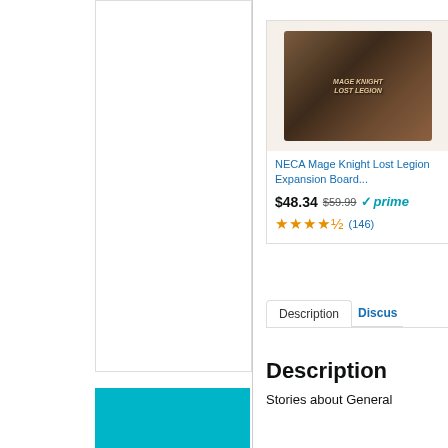[Figure (photo): Left panel with a white bordered box and a teal/cyan button at the bottom]
[Figure (photo): Product image of NECA Mage Knight Lost Legion board game box with dark fantasy artwork]
NECA Mage Knight Lost Legion Expansion Board...
$48.34 $59.99 ✓prime
★★★★½ (146)
Description | Discus
Description
Stories about General